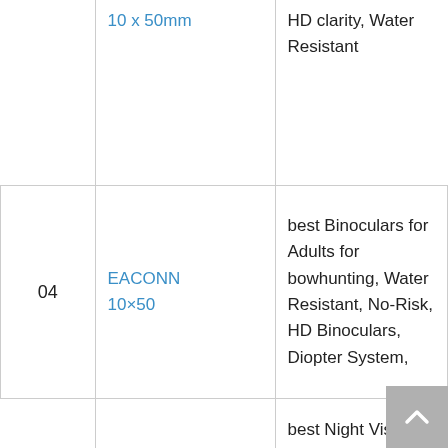| # | Brand | Description |
| --- | --- | --- |
|  | 10 x 50mm | HD clarity, Water Resistant |
| 04 | EACONN 10×50 | best Binoculars for Adults for bowhunting, Water Resistant, No-Risk, HD Binoculars, Diopter System, |
| 05 | Taotuo | best Night Vision Binoculars for bowhunting, Waterproof, Porro Prism, Multilingual compatible, Wide Scre infrared LED, |